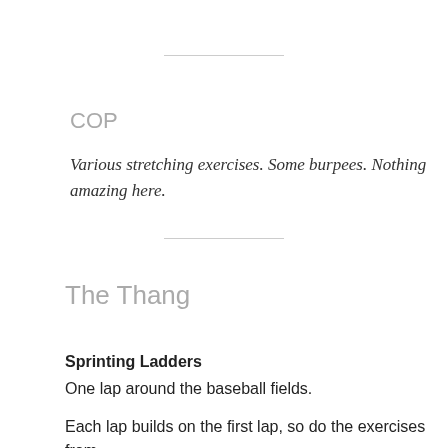COP
Various stretching exercises. Some burpees. Nothing amazing here.
The Thang
Sprinting Ladders
One lap around the baseball fields.
Each lap builds on the first lap, so do the exercises from